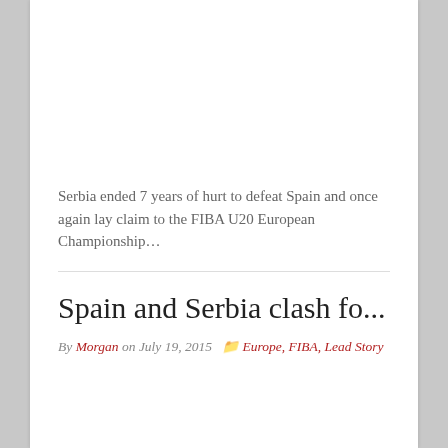Serbia ended 7 years of hurt to defeat Spain and once again lay claim to the FIBA U20 European Championship…
Spain and Serbia clash fo...
By Morgan on July 19, 2015  Europe, FIBA, Lead Story